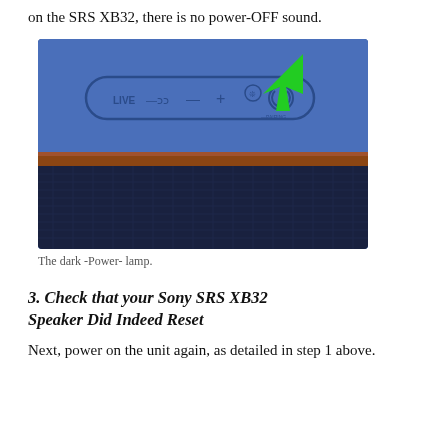on the SRS XB32, there is no power-OFF sound.
[Figure (photo): Photo of the top panel of a Sony SRS XB32 blue Bluetooth speaker showing LIVE, sound mode, minus, plus, and power buttons. A green arrow points to the power button area.]
The dark -Power- lamp.
3. Check that your Sony SRS XB32 Speaker Did Indeed Reset
Next, power on the unit again, as detailed in step 1 above.